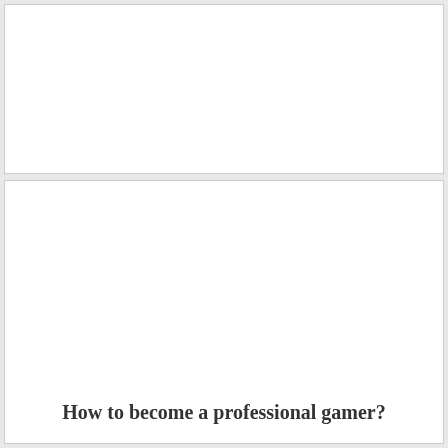[Figure (other): Empty white box, top section]
How to become a professional gamer?